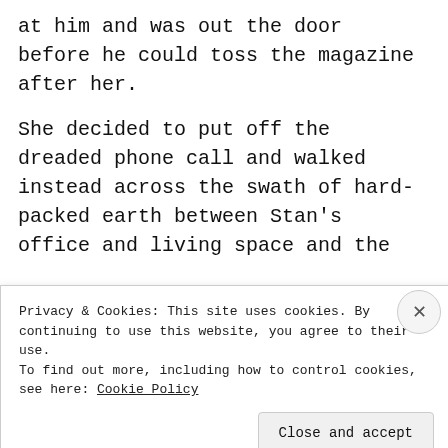at him and was out the door before he could toss the magazine after her.
She decided to put off the dreaded phone call and walked instead across the swath of hard-packed earth between Stan's office and living space and the
Privacy & Cookies: This site uses cookies. By continuing to use this website, you agree to their use.
To find out more, including how to control cookies, see here: Cookie Policy
Close and accept